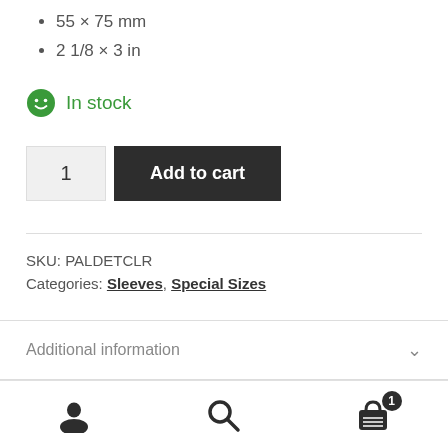55 × 75 mm
2 1/8 × 3 in
In stock
1
Add to cart
SKU: PALDETCLR
Categories: Sleeves, Special Sizes
Additional information